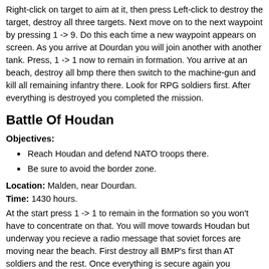Right-click on target to aim at it, then press Left-click to destroy the target, destroy all three targets. Next move on to the next waypoint by pressing 1 -> 9. Do this each time a new waypoint appears on screen. As you arrive at Dourdan you will join another with another tank. Press, 1 -> 1 now to remain in formation. You arrive at an beach, destroy all bmp there then switch to the machine-gun and kill all remaining infantry there. Look for RPG soldiers first. After everything is destroyed you completed the mission.
Battle Of Houdan
Objectives:
Reach Houdan and defend NATO troops there.
Be sure to avoid the border zone.
Location: Malden, near Dourdan.
Time: 1430 hours.
At the start press 1 -> 1 to remain in the formation so you won't have to concentrate on that. You will move towards Houdan but underway you recieve a radio message that soviet forces are moving near the beach. First destroy all BMP's first than AT soldiers and the rest. Once everything is secure again you continue to proceed to Houdan. Check your rader and press tab to lock on enemy tanks. Once this hard battle is over you get the order to enter the border zone. Remain a bit behind some best to get killed. You can cover the rest in the woods as AT